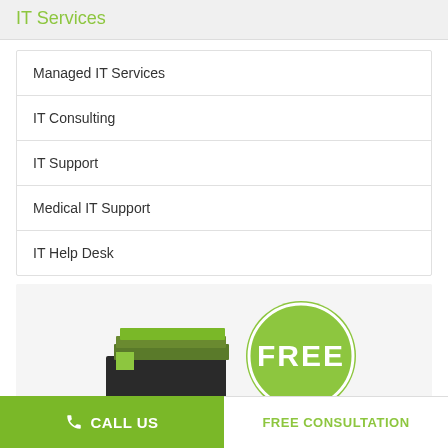IT Services
Managed IT Services
IT Consulting
IT Support
Medical IT Support
IT Help Desk
[Figure (illustration): Promotional image with green circle badge reading FREE, alongside stacked book/report graphics]
CALL US
FREE CONSULTATION